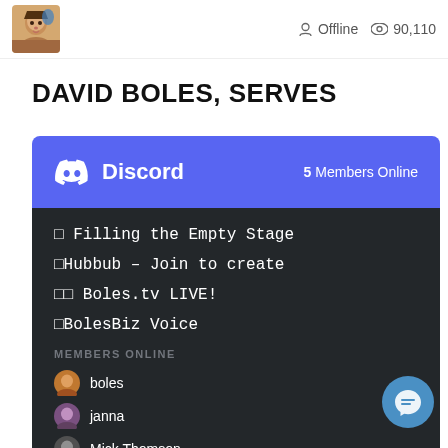[Figure (photo): Small avatar photo of a person, top left corner]
Offline   90,110
DAVID BOLES, SERVES
[Figure (screenshot): Discord widget showing 5 Members Online with channels: Filling the Empty Stage, Hubbub - Join to create, Boles.tv LIVE!, BolesBiz Voice, and Members Online: boles, janna, Mick Thomson]
[Figure (logo): Facebook Messenger floating button, bottom right]